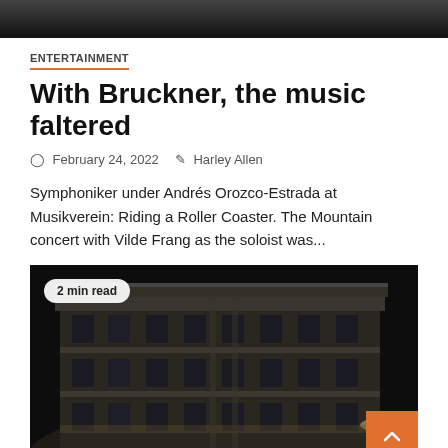[Figure (photo): Dark image at top, partially cropped, dark background with a person or scene]
ENTERTAINMENT
With Bruckner, the music faltered
February 24, 2022   Harley Allen
Symphoniker under Andrés Orozco-Estrada at Musikverein: Riding a Roller Coaster. The Mountain concert with Vilde Frang as the soloist was...
[Figure (photo): Night photograph of a classical stone building (Musikverein) illuminated against a dark sky, with a '2 min read' badge overlay and an orange back-to-top button in the lower right corner.]